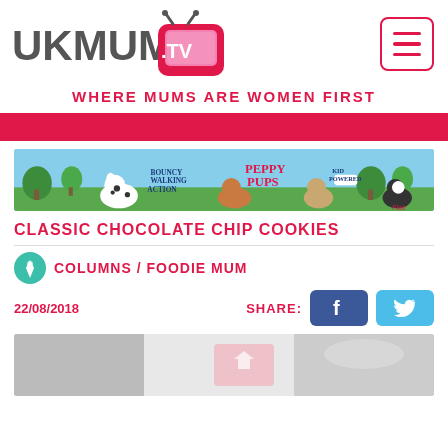[Figure (logo): UKMUMS.TV logo with pink TV icon and hamburger menu button]
WHERE MUMS ARE WOMEN FIRST
[Figure (photo): Peppy Pups advertisement banner with animated dogs and text: BOUNCY WALKING ACTION, PEPPY PUPS, KID POWERED, Flair logo]
CLASSIC CHOCOLATE CHIP COOKIES
COLUMNS / FOODIE MUM
22/08/2018
[Figure (photo): Bottom portion of article hero image showing baking ingredients]